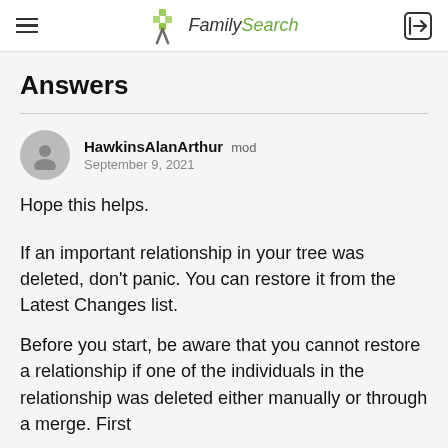FamilySearch
Answers
HawkinsAlanArthur  mod
September 9, 2021
Hope this helps.
If an important relationship in your tree was deleted, don't panic. You can restore it from the Latest Changes list.
Before you start, be aware that you cannot restore a relationship if one of the individuals in the relationship was deleted either manually or through a merge. First